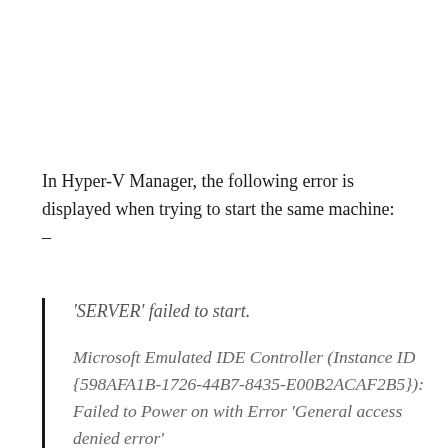In Hyper-V Manager, the following error is displayed when trying to start the same machine: –
'SERVER' failed to start.

Microsoft Emulated IDE Controller (Instance ID {598AFA1B-1726-44B7-8435-E00B2ACAF2B5}): Failed to Power on with Error 'General access denied error'